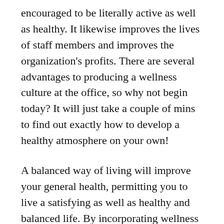encouraged to be literally active as well as healthy. It likewise improves the lives of staff members and improves the organization's profits. There are several advantages to producing a wellness culture at the office, so why not begin today? It will just take a couple of mins to find out exactly how to develop a healthy atmosphere on your own!
A balanced way of living will improve your general health, permitting you to live a satisfying as well as healthy and balanced life. By incorporating wellness methods into your way of living, you can establish realistic objectives, develop a lasting strategy, as well as improve your lifestyle. Wellness is a vital part of